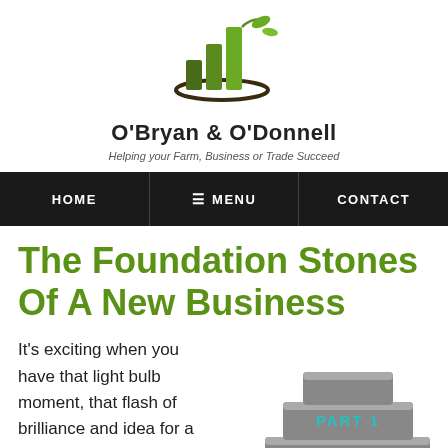[Figure (logo): O'Bryan & O'Donnell logo with green bar chart and leaf icon, dark elliptical swoosh underneath]
O'Bryan & O'Donnell
Helping your Farm, Business or Trade Succeed
HOME | MENU | CONTACT
The Foundation Stones Of A New Business
It's exciting when you have that light bulb moment, that flash of brilliance and idea for a new business. It's hard...
[Figure (illustration): Stacked grey concrete blocks/stones with 'PART 1' written in teal on the front block]